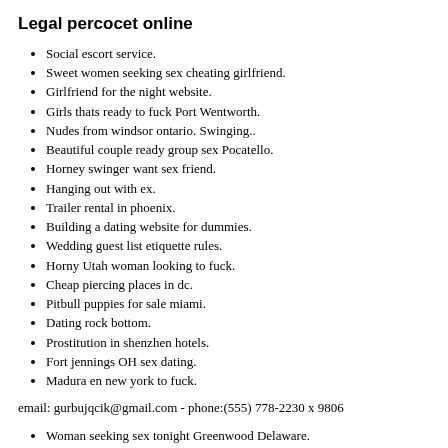Legal percocet online
Social escort service.
Sweet women seeking sex cheating girlfriend.
Girlfriend for the night website.
Girls thats ready to fuck Port Wentworth.
Nudes from windsor ontario. Swinging..
Beautiful couple ready group sex Pocatello.
Horney swinger want sex friend.
Hanging out with ex.
Trailer rental in phoenix.
Building a dating website for dummies.
Wedding guest list etiquette rules.
Horny Utah woman looking to fuck.
Cheap piercing places in dc.
Pitbull puppies for sale miami.
Dating rock bottom.
Prostitution in shenzhen hotels.
Fort jennings OH sex dating.
Madura en new york to fuck.
email: gurbujqcik@gmail.com - phone:(555) 778-2230 x 9806
Woman seeking sex tonight Greenwood Delaware.
Sincere loving woman seeking a strong man.